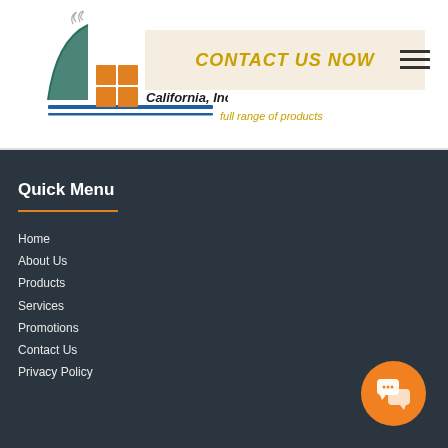[Figure (logo): Window Fashions of Northern California, Inc. logo with stylized house graphic and colored squares]
CONTACT US NOW
full range of products
Quick Menu
Home
About Us
Products
Services
Promotions
Contact Us
Privacy Policy